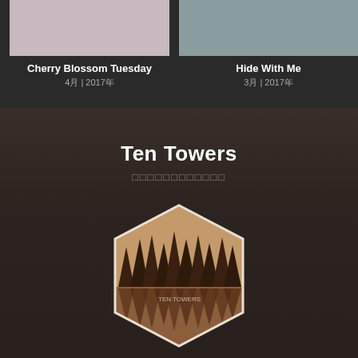[Figure (illustration): Album art thumbnail for Cherry Blossom Tuesday, pinkish-beige color]
Cherry Blossom Tuesday
4月 | 2017年
[Figure (illustration): Album art thumbnail for Hide With Me, grayish-teal color]
Hide With Me
3月 | 2017年
Ten Towers
□□□□□□□□□□□□
[Figure (illustration): Hexagonal album art showing silhouette of pine trees on brown/kraft background with artist name text]
AWA□□□□□□